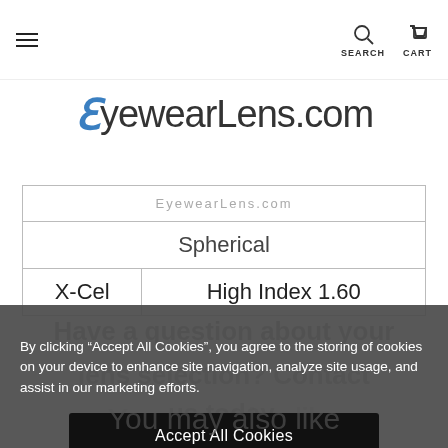[Figure (screenshot): EyewearLens.com website header with navigation hamburger menu, search and cart icons, and logo]
| EyewearLens.com |
| Spherical |
| X-Cel | High Index 1.60 |
By clicking “Accept All Cookies”, you agree to the storing of cookies on your device to enhance site navigation, analyze site usage, and assist in our marketing efforts.
Accept All Cookies
You may also like